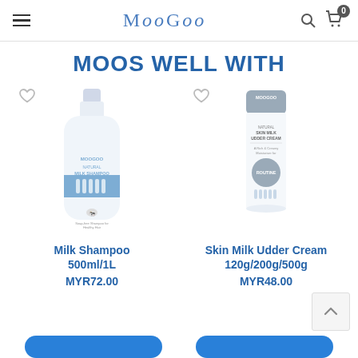MooGoo
MOOS WELL WITH
[Figure (photo): MooGoo Milk Shampoo 500ml/1L bottle product photo with heart/wishlist icon]
Milk Shampoo
500ml/1L
MYR72.00
[Figure (photo): MooGoo Skin Milk Udder Cream 120g/200g/500g tube product photo with heart/wishlist icon]
Skin Milk Udder Cream
120g/200g/500g
MYR48.00